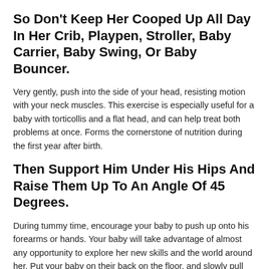So Don't Keep Her Cooped Up All Day In Her Crib, Playpen, Stroller, Baby Carrier, Baby Swing, Or Baby Bouncer.
Very gently, push into the side of your head, resisting motion with your neck muscles. This exercise is especially useful for a baby with torticollis and a flat head, and can help treat both problems at once. Forms the cornerstone of nutrition during the first year after birth.
Then Support Him Under His Hips And Raise Them Up To An Angle Of 45 Degrees.
During tummy time, encourage your baby to push up onto his forearms or hands. Your baby will take advantage of almost any opportunity to explore her new skills and the world around her. Put your baby on their back on the floor, and slowly pull them up by their hands to a sitting position.
Tags: baby, Muscles, neck